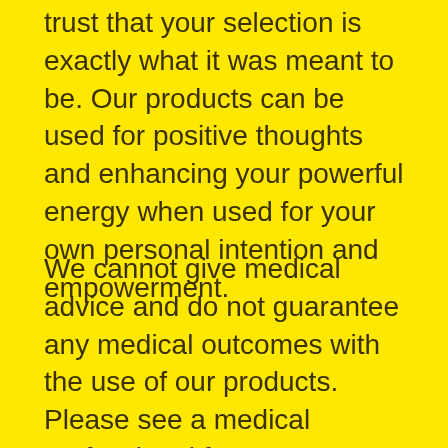trust that your selection is exactly what it was meant to be. Our products can be used for positive thoughts and enhancing your powerful energy when used for your own personal intention and empowerment.
We cannot give medical advice and do not guarantee any medical outcomes with the use of our products. Please see a medical professional for any information regarding disease, diagnosis and/or treatment. Utilizing our products is solely meant as a complementary tool under any and all medical circumstances. Therefore we do not accept any